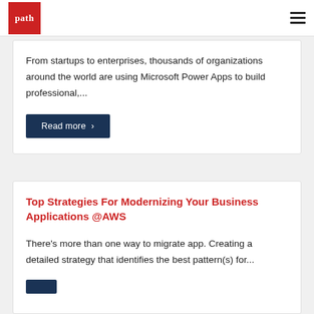path [logo] | hamburger menu
From startups to enterprises, thousands of organizations around the world are using Microsoft Power Apps to build professional,...
Read more >
Top Strategies For Modernizing Your Business Applications @AWS
There's more than one way to migrate app. Creating a detailed strategy that identifies the best pattern(s) for...